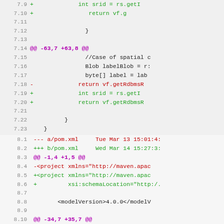Diff code view showing file changes with line numbers, additions (+), removals (-), and hunk headers (@@)
[Figure (screenshot): A unified diff view showing two file sections: top section shows Java source code changes (lines 7.9-7.24), bottom section shows pom.xml changes (lines 8.1-8.16). Added lines are green, removed lines are red, hunk headers are magenta.]